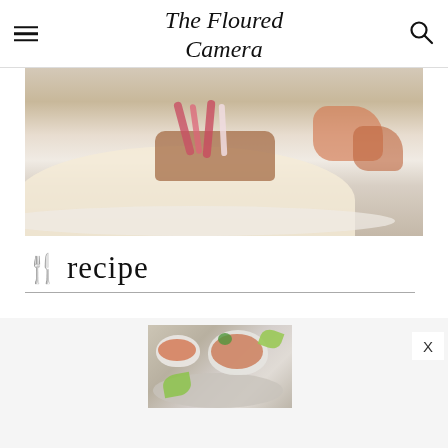The Floured Camera
[Figure (photo): Close-up photo of a taco on a white plate with corn tortilla, red onion, and meat toppings on a woven background]
🍴 recipe
[Figure (photo): Photo of small bowls with salsa/kimchi and lime wedges on a plate]